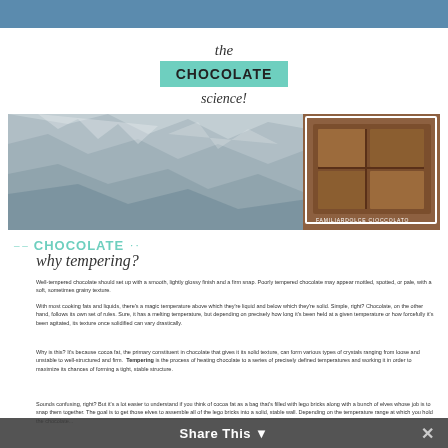[Figure (illustration): Blue header bar at top of page]
the CHOCOLATE science!
[Figure (photo): Wide banner photo showing crumpled silver foil on the left and a framed photo of chocolate bars on the right with text 'FAMILIARDOLCE CIOCCOLATO']
CHOCOLATE
why tempering?
Well-tempered chocolate should set up with a smooth, lightly glossy finish and a firm snap. Poorly tempered chocolate may appear mottled, spotted, or pale, with a soft, sometimes grainy texture.
With most cooking fats and liquids, there's a magic temperature above which they're liquid and below which they're solid. Simple, right? Chocolate, on the other hand, follows its own set of rules. Sure, it has a melting temperature, but depending on precisely how long it's been held at a given temperature or how forcefully it's been agitated, its texture once solidified can vary drastically.
Why is this? It's because cocoa fat, the primary constituent in chocolate that gives it its solid texture, can form various types of crystals ranging from loose and unstable to well-structured and firm. Tempering is the process of heating chocolate to a series of precisely defined temperatures and working it in order to maximize its chances of forming a tight, stable structure.
Sounds confusing, right? But it's a lot easier to understand if you think of cocoa fat as a bag that's filled with lego bricks along with a bunch of elves whose job is to snap them together. The goal is to get those elves to assemble all of the lego bricks into a solid, stable wall. Depending on the temperature range at which you hold the chocolate...
Share This ×